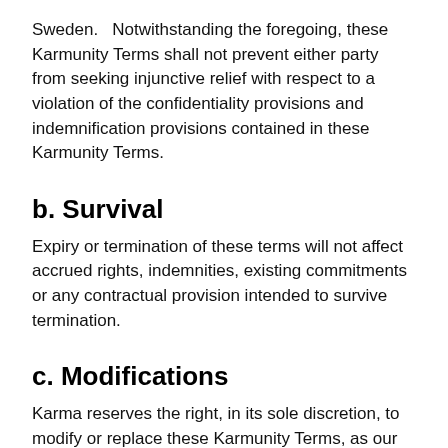Sweden.   Notwithstanding the foregoing, these Karmunity Terms shall not prevent either party from seeking injunctive relief with respect to a violation of the confidentiality provisions and indemnification provisions contained in these Karmunity Terms.
b. Survival
Expiry or termination of these terms will not affect accrued rights, indemnities, existing commitments or any contractual provision intended to survive termination.
c. Modifications
Karma reserves the right, in its sole discretion, to modify or replace these Karmunity Terms, as our